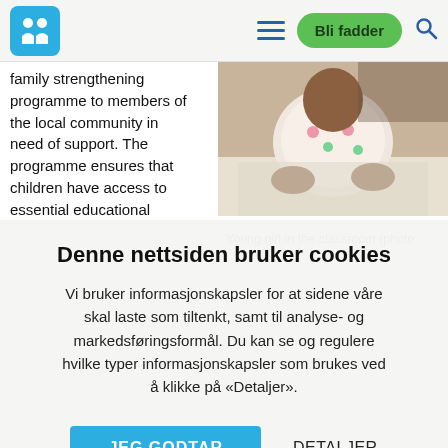Bli fadder
family strengthening programme to members of the local community in need of support. The programme ensures that children have access to essential educational
[Figure (photo): Young girl sitting at a desk in a classroom, wearing a floral top, photographed from above/front]
Young girl in the classroom (photo:
Denne nettsiden bruker cookies
Vi bruker informasjonskapsler for at sidene våre skal laste som tiltenkt, samt til analyse- og markedsføringsformål. Du kan se og regulere hvilke typer informasjonskapsler som brukes ved å klikke på «Detaljer».
JEG GODTAR
DETALJER